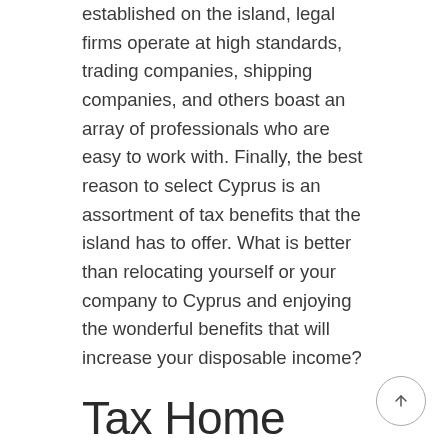established on the island, legal firms operate at high standards, trading companies, shipping companies, and others boast an array of professionals who are easy to work with. Finally, the best reason to select Cyprus is an assortment of tax benefits that the island has to offer. What is better than relocating yourself or your company to Cyprus and enjoying the wonderful benefits that will increase your disposable income?
Tax Home
Cyprus corporation tax is set at 12.5%, is one of the lowest in the European Union.
Having 0% withholding tax on dividends and interest for non-domiciled Cyprus tax residents or foreign nationals. Personal income tax rates range